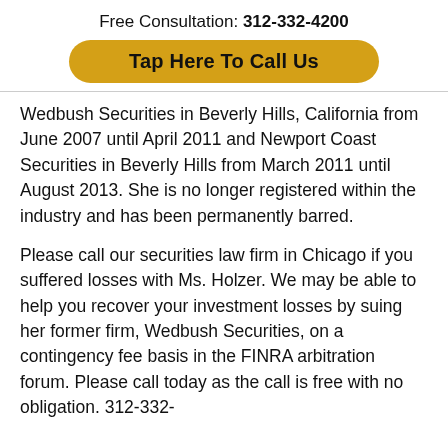Free Consultation: 312-332-4200
Tap Here To Call Us
Wedbush Securities in Beverly Hills, California from June 2007 until April 2011 and Newport Coast Securities in Beverly Hills from March 2011 until August 2013. She is no longer registered within the industry and has been permanently barred.
Please call our securities law firm in Chicago if you suffered losses with Ms. Holzer. We may be able to help you recover your investment losses by suing her former firm, Wedbush Securities, on a contingency fee basis in the FINRA arbitration forum. Please call today as the call is free with no obligation. 312-332-